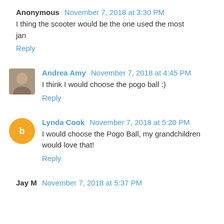Anonymous  November 7, 2018 at 3:30 PM
I thing the scooter would be the one used the most
jan
Reply
Andrea Amy  November 7, 2018 at 4:45 PM
I think I would choose the pogo ball :)
Reply
Lynda Cook  November 7, 2018 at 5:20 PM
I would choose the Pogo Ball, my grandchildren would love that!
Reply
Jay M  November 7, 2018 at 5:37 PM